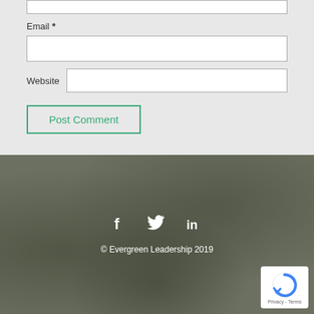[Figure (screenshot): Top portion of a comment form with a truncated input box at the top (cut off)]
Email *
[Figure (screenshot): Email text input field (white box)]
Website
[Figure (screenshot): Website text input field (white box, inline with label)]
[Figure (screenshot): Post Comment button with green border and green text]
[Figure (screenshot): Footer section with dark olive/grey textured background, social icons (f, twitter bird, in), copyright text, and reCAPTCHA badge]
© Evergreen Leadership 2019